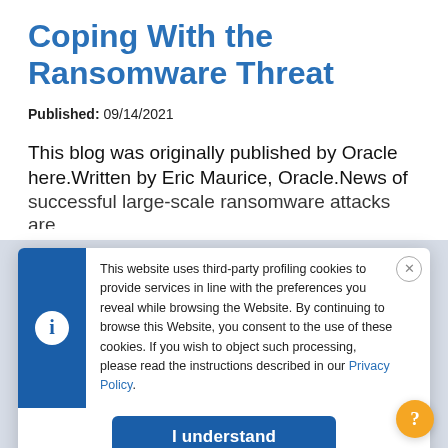Coping With the Ransomware Threat
Published: 09/14/2021
This blog was originally published by Oracle here. Written by Eric Maurice, Oracle. News of successful large-scale ransomware attacks are
This website uses third-party profiling cookies to provide services in line with the preferences you reveal while browsing the Website. By continuing to browse this Website, you consent to the use of these cookies. If you wish to object such processing, please read the instructions described in our Privacy Policy.
I understand